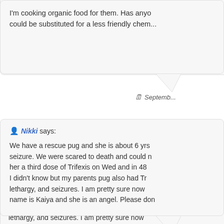I'm cooking organic food for them. Has anyone found anything that could be substituted for a less friendly chem...
September...
Nikki says:
We have a rescue pug and she is about 6 yrs old and just had a seizure. We were scared to death and could n... her a third dose of Trifexis on Wed and in 48... I didn't know but my parents pug also had Tr... lethargy, and seizures. I am pretty sure now... name is Kaiya and she is an angel. Please don...
September...
Martin says: